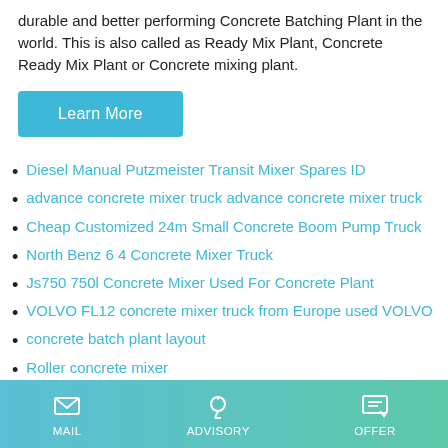durable and better performing Concrete Batching Plant in the world. This is also called as Ready Mix Plant, Concrete Ready Mix Plant or Concrete mixing plant.
Learn More
Diesel Manual Putzmeister Transit Mixer Spares ID
advance concrete mixer truck advance concrete mixer truck
Cheap Customized 24m Small Concrete Boom Pump Truck
North Benz 6 4 Concrete Mixer Truck
Js750 750l Concrete Mixer Used For Concrete Plant
VOLVO FL12 concrete mixer truck from Europe used VOLVO
concrete batch plant layout
Roller concrete mixer
1994 Volvo ACL Mixer Ready Mix Concrete Truck
MAIL  ADVISORY  OFFER